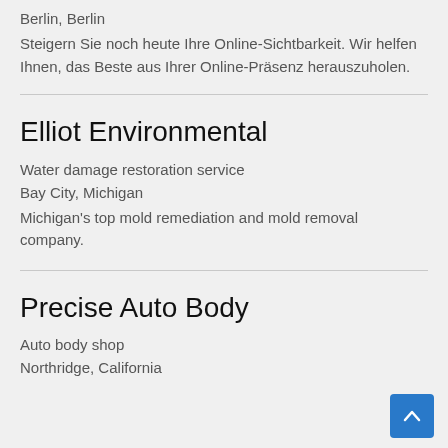Berlin, Berlin
Steigern Sie noch heute Ihre Online-Sichtbarkeit. Wir helfen Ihnen, das Beste aus Ihrer Online-Präsenz herauszuholen.
Elliot Environmental
Water damage restoration service
Bay City, Michigan
Michigan's top mold remediation and mold removal company.
Precise Auto Body
Auto body shop
Northridge, California